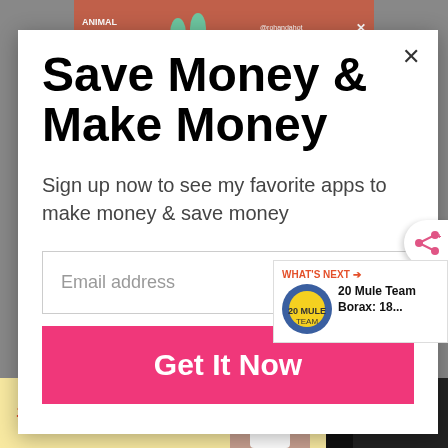[Figure (screenshot): Top advertisement banner with salmon/terracotta background, 'ANIMAL ADVICE' text, bunny ear illustrations, @rohandahot username, and X close button]
×
Save Money & Make Money
Sign up now to see my favorite apps to make money & save money
Email address
Get It Now
[Figure (infographic): Share icon button on the right edge of the modal]
WHAT'S NEXT → 20 Mule Team Borax: 18...
[Figure (screenshot): Bottom advertisement with #AloneTogether text on yellow background and a photo of a woman]
[Figure (logo): Dark background with three white dots logo on the right]